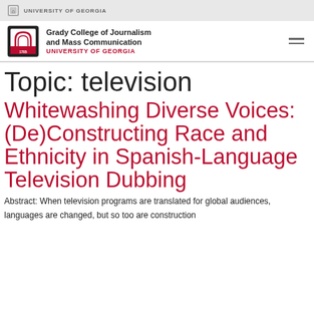UNIVERSITY OF GEORGIA
[Figure (logo): Grady College of Journalism and Mass Communication, University of Georgia logo with arch shield icon]
Topic: television
Whitewashing Diverse Voices: (De)Constructing Race and Ethnicity in Spanish-Language Television Dubbing
Abstract: When television programs are translated for global audiences, languages are changed, but so too are construction